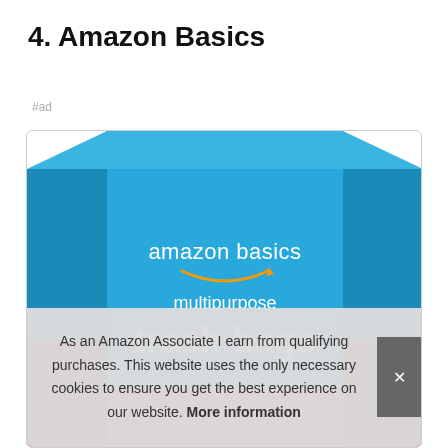4. Amazon Basics
#ad
[Figure (photo): Amazon Basics multipurpose trash bags product box image with blue background and white text]
As an Amazon Associate I earn from qualifying purchases. This website uses the only necessary cookies to ensure you get the best experience on our website. More information